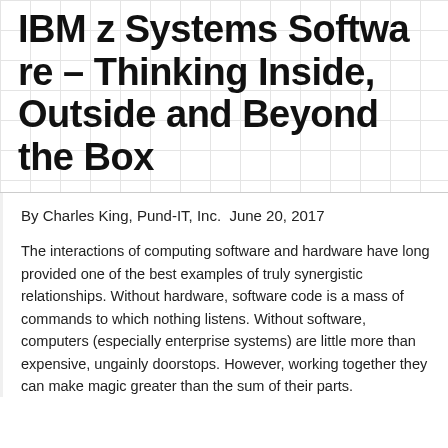IBM z Systems Software – Thinking Inside, Outside and Beyond the Box
By Charles King, Pund-IT, Inc.  June 20, 2017
The interactions of computing software and hardware have long provided one of the best examples of truly synergistic relationships. Without hardware, software code is a mass of commands to which nothing listens. Without software, computers (especially enterprise systems) are little more than expensive, ungainly doorstops. However, working together they can make magic greater than the sum of their parts.